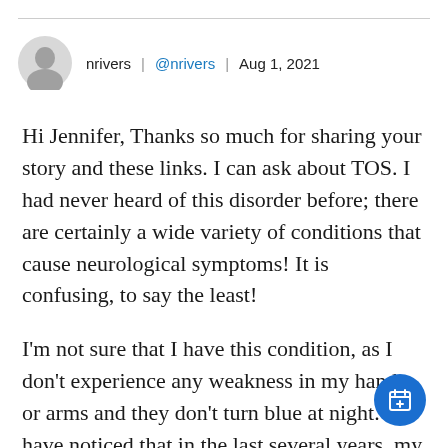[Figure (other): User profile header with avatar icon, username 'nrivers', handle '@nrivers', and date 'Aug 1, 2021']
Hi Jennifer, Thanks so much for sharing your story and these links. I can ask about TOS. I had never heard of this disorder before; there are certainly a wide variety of conditions that cause neurological symptoms! It is confusing, to say the least!
I'm not sure that I have this condition, as I don't experience any weakness in my hands or arms and they don't turn blue at night. I have noticed that in the last several years, my resting pulse rate has